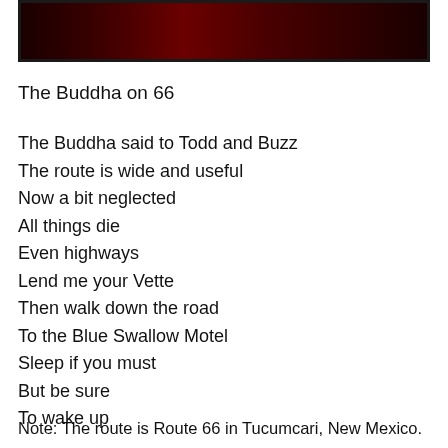[Figure (photo): Dark reddish-toned photograph strip at the top of the page, partially cropped, showing a dark road or landscape scene.]
The Buddha on 66
The Buddha said to Todd and Buzz
The route is wide and useful
Now a bit neglected
All things die
Even highways
Lend me your Vette
Then walk down the road
To the Blue Swallow Motel
Sleep if you must
But be sure
To wake up
Note: The route is Route 66 in Tucumcari, New Mexico.